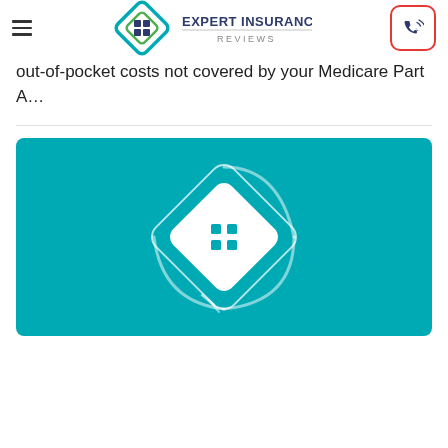Expert Insurance Reviews
out-of-pocket costs not covered by your Medicare Part A…
[Figure (logo): Expert Insurance Reviews logo on teal background — white diamond shape with a house/grid icon inside]